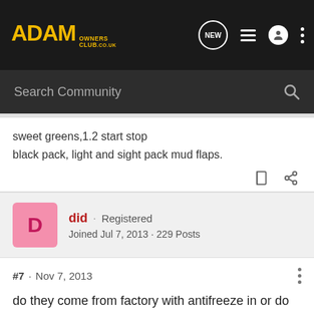ADAM Owners Club - Search Community navigation bar
sweet greens,1.2 start stop
black pack, light and sight pack mud flaps.
did · Registered
Joined Jul 7, 2013 · 229 Posts
#7 · Nov 7, 2013
do they come from factory with antifreeze in or do we have put our own in